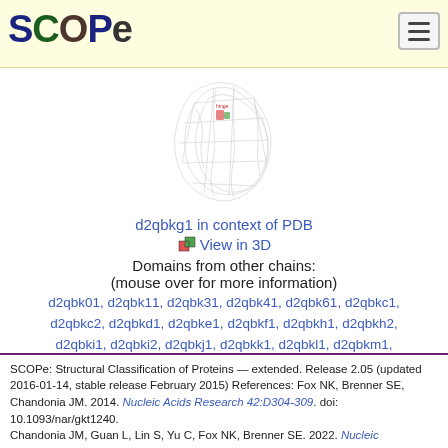SCOPe
[Figure (illustration): 3D protein structure wireframe rendering shown against white background]
d2qbkg1 in context of PDB
View in 3D
Domains from other chains:
(mouse over for more information)
d2qbk01, d2qbk11, d2qbk31, d2qbk41, d2qbk61, d2qbkc1, d2qbkc2, d2qbkd1, d2qbke1, d2qbkf1, d2qbkh1, d2qbkh2, d2qbki1, d2qbki2, d2qbkj1, d2qbkk1, d2qbkl1, d2qbkm1, d2qbkn1, d2qbko1, d2qbkp1, d2qbkq1, d2qbkr1, d2qbks1, d2qbkt1, d2qbku1, d2qbkv1, d2qbkw1, d2qbkx1, d2qbky1, d2qbkz1
SCOPe: Structural Classification of Proteins — extended. Release 2.05 (updated 2016-01-14, stable release February 2015)
References: Fox NK, Brenner SE, Chandonia JM. 2014. Nucleic Acids Research 42:D304-309. doi: 10.1093/nar/gkt1240.
Chandonia JM, Guan L, Lin S, Yu C, Fox NK, Brenner SE. 2022. Nucleic